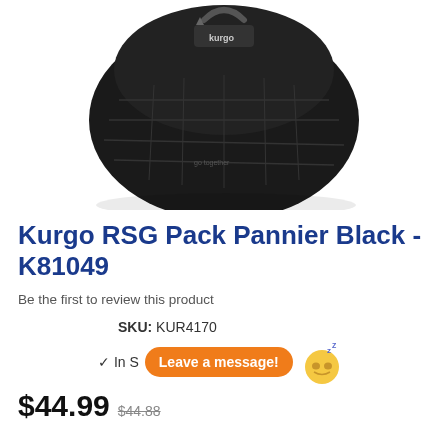[Figure (photo): Kurgo RSG Pack Pannier Black product photo showing a black tactical-style dog saddle bag with quilted panels and Kurgo logo on white background]
Kurgo RSG Pack Pannier Black - K81049
Be the first to review this product
SKU: KUR4170
✓ In Stock
Leave a message!
$44.99  $44.88